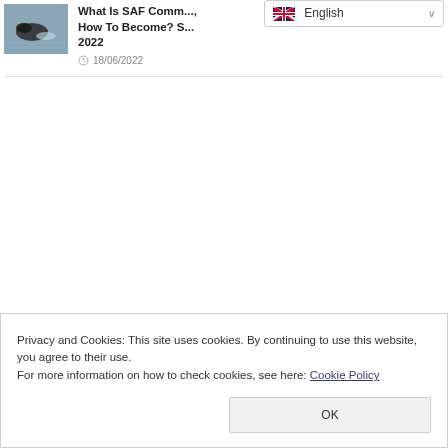[Figure (photo): Thumbnail image of an animal (possibly otter or seal) in water]
What Is SAF Comm..., How To Become? S... 2022
18/06/2022
[Figure (screenshot): Language selector dropdown showing English with flag]
Privacy and Cookies: This site uses cookies. By continuing to use this website, you agree to their use.
For more information on how to check cookies, see here: Cookie Policy
OK